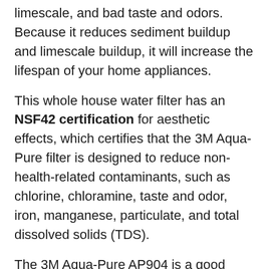limescale, and bad taste and odors. Because it reduces sediment buildup and limescale buildup, it will increase the lifespan of your home appliances.
This whole house water filter has an NSF42 certification for aesthetic effects, which certifies that the 3M Aqua-Pure filter is designed to reduce non-health-related contaminants, such as chlorine, chloramine, taste and odor, iron, manganese, particulate, and total dissolved solids (TDS).
The 3M Aqua-Pure AP904 is a good option if you need to deal with limescale buildup because it reduces sediment buildup and limescale buildup increasing the lifespan of your home appliances.